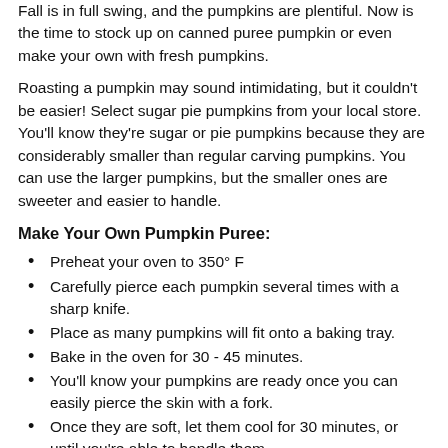Fall is in full swing, and the pumpkins are plentiful. Now is the time to stock up on canned puree pumpkin or even make your own with fresh pumpkins.
Roasting a pumpkin may sound intimidating, but it couldn't be easier! Select sugar pie pumpkins from your local store. You'll know they're sugar or pie pumpkins because they are considerably smaller than regular carving pumpkins. You can use the larger pumpkins, but the smaller ones are sweeter and easier to handle.
Make Your Own Pumpkin Puree:
Preheat your oven to 350° F
Carefully pierce each pumpkin several times with a sharp knife.
Place as many pumpkins will fit onto a baking tray.
Bake in the oven for 30 - 45 minutes.
You'll know your pumpkins are ready once you can easily pierce the skin with a fork.
Once they are soft, let them cool for 30 minutes, or until you're able to handle them.
Cut each pumpkin in half and scoop out the threads and seeds. You can save the seeds to make roasted pumpkin seeds for your two-legged family members.
The pumpkins should be soft enough to peel away